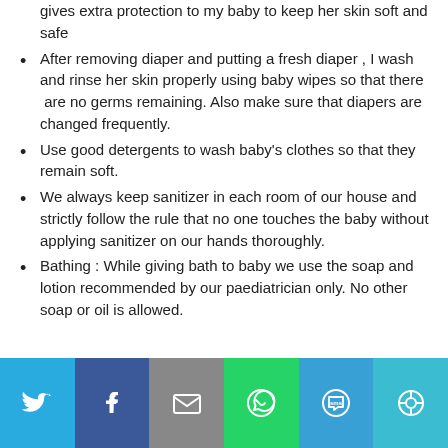gives extra protection to my baby to keep her skin soft and safe
After removing diaper and putting a fresh diaper , I wash and rinse her skin properly using baby wipes so that there  are no germs remaining. Also make sure that diapers are changed frequently.
Use good detergents to wash baby's clothes so that they remain soft.
We always keep sanitizer in each room of our house and strictly follow the rule that no one touches the baby without applying sanitizer on our hands thoroughly.
Bathing : While giving bath to baby we use the soap and lotion recommended by our paediatrician only. No other soap or oil is allowed.
Social share bar: Twitter, Facebook, Email, WhatsApp, SMS, Share